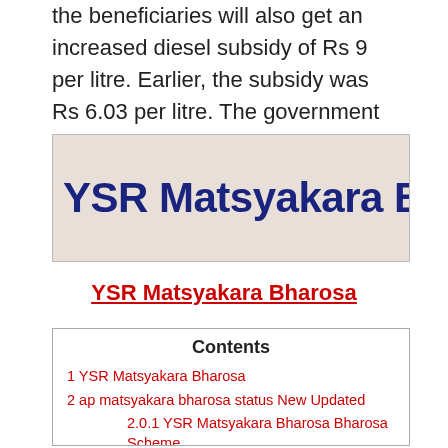the beneficiaries will also get an increased diesel subsidy of Rs 9 per litre. Earlier, the subsidy was Rs 6.03 per litre. The government has identified 81 filling stations for the purpose.
[Figure (logo): YSR Matsyakara Bharos banner/logo with dark blue bold text on a light pinkish-beige background]
YSR Matsyakara Bharosa
| Contents |
| --- |
| 1 YSR Matsyakara Bharosa |
| 2 ap matsyakara bharosa status New Updated |
| 2.0.1 YSR Matsyakara Bharosa Scheme |
| 3.1 AP YSR Matsyakara Bharosa Scheme |